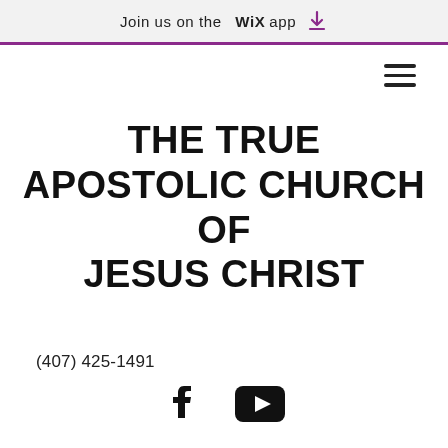Join us on the WiX app ⬇
[Figure (other): Hamburger menu icon (three horizontal lines) in top right corner]
THE TRUE APOSTOLIC CHURCH OF JESUS CHRIST
(407) 425-1491
[Figure (other): Facebook and YouTube social media icons]